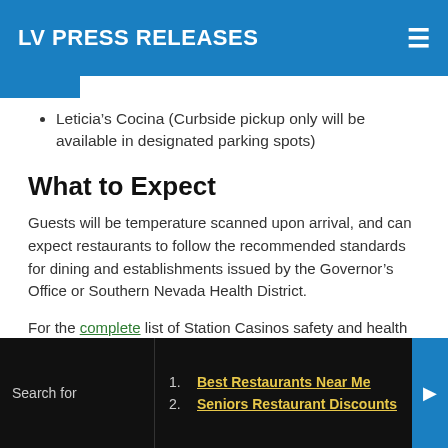LV PRESS RELEASES
Leticia’s Cocina (Curbside pickup only will be available in designated parking spots)
What to Expect
Guests will be temperature scanned upon arrival, and can expect restaurants to follow the recommended standards for dining and establishments issued by the Governor’s Office or Southern Nevada Health District.
For the complete list of Station Casinos safety and health protocols please visit this link which includes the below protocols:
Best Restaurants Near Me
Seniors Restaurant Discounts